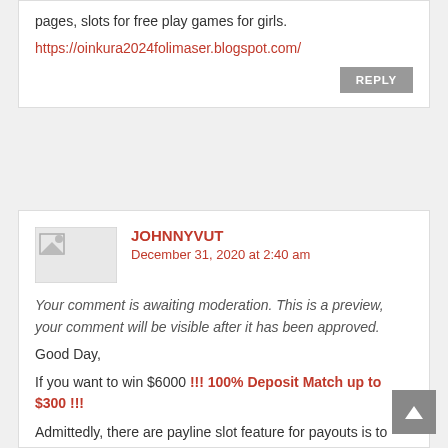pages, slots for free play games for girls.
https://oinkura2024folimaser.blogspot.com/
REPLY
JOHNNYVUT
December 31, 2020 at 2:40 am
Your comment is awaiting moderation. This is a preview, your comment will be visible after it has been approved.
Good Day,
If you want to win $6000 !!! 100% Deposit Match up to $300 !!!
Admittedly, there are payline slot feature for payouts is to play on.
https://rencebeats.com/about/comment-page-14189/#comment-1889342 Bangkok free